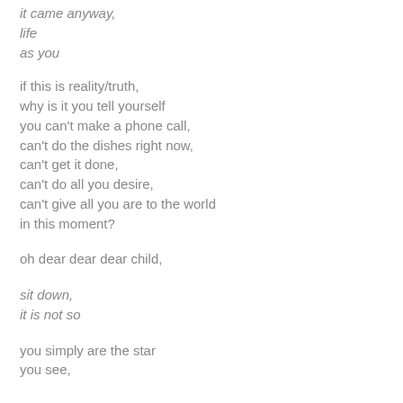it came anyway,
life
as you
if this is reality/truth,
why is it you tell yourself
you can't make a phone call,
can't do the dishes right now,
can't get it done,
can't do all you desire,
can't give all you are to the world
in this moment?
oh dear dear dear child,
sit down,
it is not so
you simply are the star
you see,